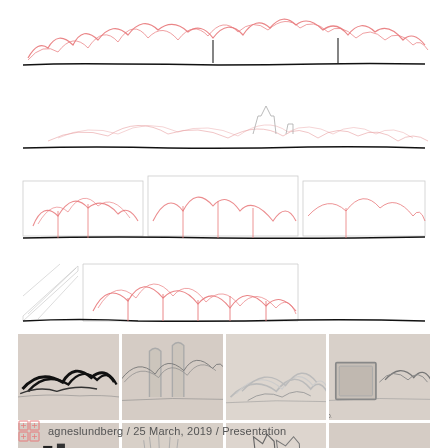[Figure (illustration): Four architectural section drawings with pink/red organic sketch lines over black ground lines, showing landscape sections with structural elements. Progressive stages of design development.]
[Figure (illustration): 8 small perspective renderings in a 4x2 grid showing architectural model views with organic, tangled structural forms in black and white/grey tones on sandy ground.]
agneslundberg / 25 March, 2019 / Presentation